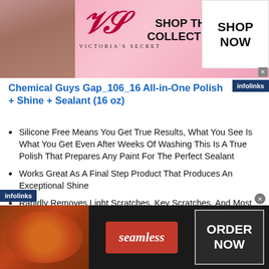[Figure (screenshot): Victoria's Secret advertisement banner with model, VS logo, 'SHOP THE COLLECTION' text, and 'SHOP NOW' button]
Chemical Guys Gap_106_16 All-in-One Polish + Shine + Sealant (16 oz)
Silicone Free Means You Get True Results, What You See Is What You Get Even After Weeks Of Washing This Is A True Polish That Prepares Any Paint For The Perfect Sealant
Works Great As A Final Step Product That Produces An Exceptional Shine
Rapidly Removes Light Scratches, Key Scratches, And Most Imperfections, Removes Light Scratches And Swirl Marks Resorting
[Figure (screenshot): Seamless food delivery advertisement with pizza image, red 'seamless' button, and 'ORDER NOW' box]